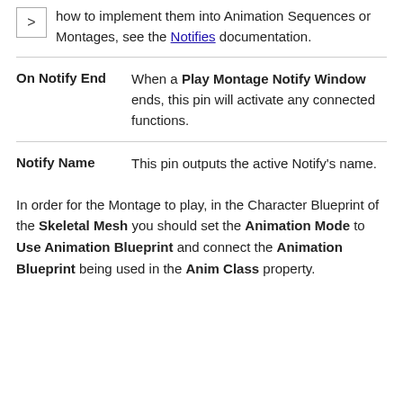how to implement them into Animation Sequences or Montages, see the Notifies documentation.
| Term | Definition |
| --- | --- |
| On Notify End | When a Play Montage Notify Window ends, this pin will activate any connected functions. |
| Notify Name | This pin outputs the active Notify's name. |
In order for the Montage to play, in the Character Blueprint of the Skeletal Mesh you should set the Animation Mode to Use Animation Blueprint and connect the Animation Blueprint being used in the Anim Class property.